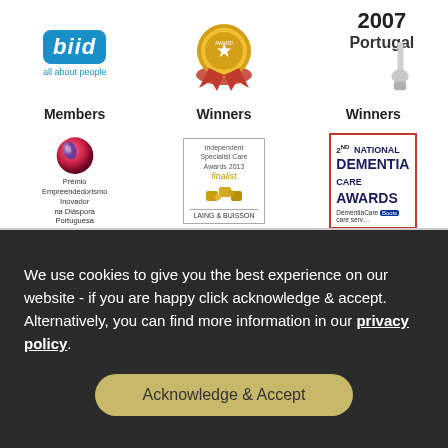[Figure (logo): BIID logo - blue rounded rectangle with white italic text 'biid' and tagline 'all about people']
Members
[Figure (photo): Gold medal award trophy]
Winners
[Figure (photo): 2007 Portugal award - partial view of trophy with text 2007 Portugal]
Winners
[Figure (logo): Prémio Empreendedorismo Inovador na Diáspora Portuguesa - spherical logo]
Winners
[Figure (logo): Independent Specialist Care Awards 2013 finalist - Laing & Buisson]
Finalists
[Figure (logo): 2nd National Dementia Care Awards - DementiaCare Boots care services]
Finalists
We use cookies to give you the best experience on our website - if you are happy click acknowledge & accept. Alternatively, you can find more information in our privacy policy.